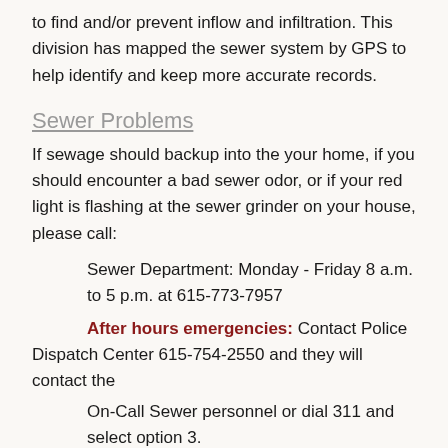to find and/or prevent inflow and infiltration. This division has mapped the sewer system by GPS to help identify and keep more accurate records.
Sewer Problems
If sewage should backup into the your home, if you should encounter a bad sewer odor, or if your red light is flashing at the sewer grinder on your house, please call:
Sewer Department: Monday - Friday 8 a.m. to 5 p.m. at 615-773-7957
After hours emergencies: Contact Police Dispatch Center 615-754-2550 and they will contact the
On-Call Sewer personnel or dial 311 and select option 3.